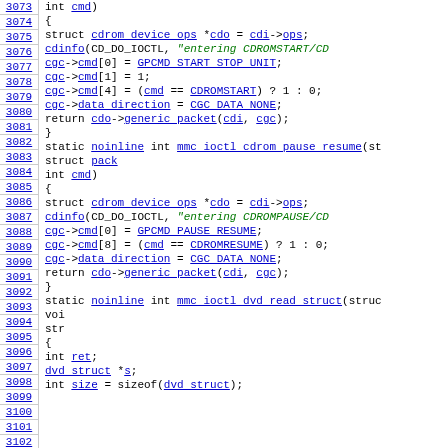[Figure (screenshot): Source code listing of Linux kernel cdrom driver functions mmc_ioctl_cdrom_pause_resume and mmc_ioctl_dvd_read_struct, with line numbers 3073-3102 shown as hyperlinks in monospace font.]